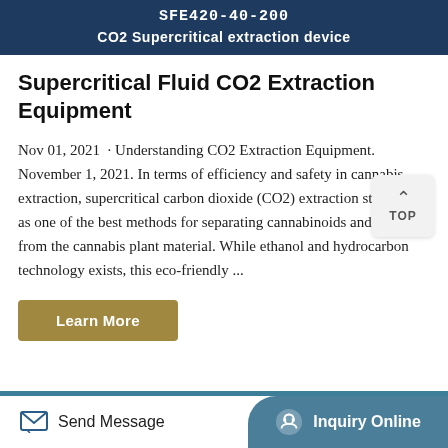SFE420-40-200
CO2 Supercritical extraction device
Supercritical Fluid CO2 Extraction Equipment
Nov 01, 2021 · Understanding CO2 Extraction Equipment. November 1, 2021. In terms of efficiency and safety in cannabis extraction, supercritical carbon dioxide (CO2) extraction stands out as one of the best methods for separating cannabinoids and terpenes from the cannabis plant material. While ethanol and hydrocarbon technology exists, this eco-friendly ...
Learn More
Send Message   Inquiry Online